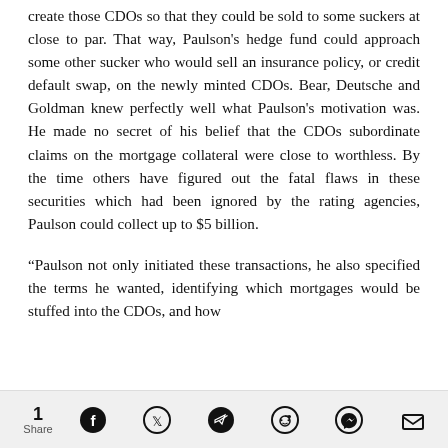create those CDOs so that they could be sold to some suckers at close to par. That way, Paulson's hedge fund could approach some other sucker who would sell an insurance policy, or credit default swap, on the newly minted CDOs. Bear, Deutsche and Goldman knew perfectly well what Paulson's motivation was. He made no secret of his belief that the CDOs subordinate claims on the mortgage collateral were close to worthless. By the time others have figured out the fatal flaws in these securities which had been ignored by the rating agencies, Paulson could collect up to $5 billion.
“Paulson not only initiated these transactions, he also specified the terms he wanted, identifying which mortgages would be stuffed into the CDOs, and how
1 Share